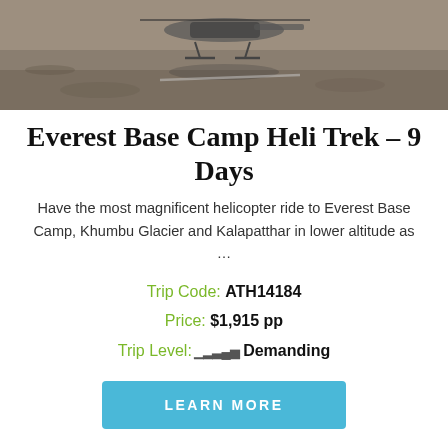[Figure (photo): Helicopter on rocky ground viewed from above, with its shadow visible]
Everest Base Camp Heli Trek – 9 Days
Have the most magnificent helicopter ride to Everest Base Camp, Khumbu Glacier and Kalapatthar in lower altitude as …
Trip Code: ATH14184
Price: $1,915 pp
Trip Level: Demanding
LEARN MORE